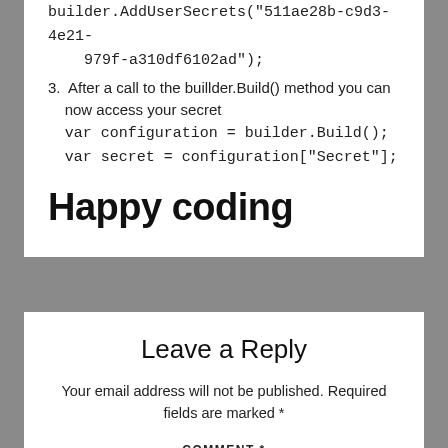builder.AddUserSecrets("511ae28b-c9d3-4e21-979f-a310df6102ad");
3. After a call to the buillder.Build() method you can now access your secret
var configuration = builder.Build();
var secret = configuration["Secret"];
Happy coding
Leave a Reply
Your email address will not be published. Required fields are marked *
COMMENT *